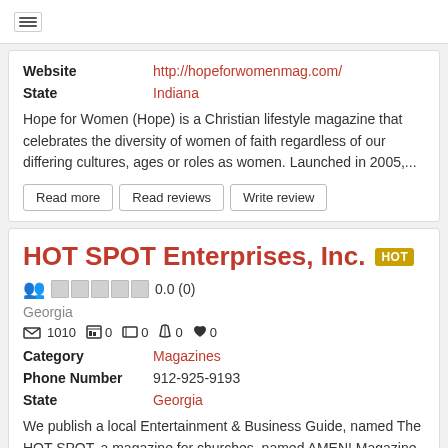[hamburger menu icon]
| Field | Value |
| --- | --- |
| Website | http://hopeforwomenmag.com/ |
| State | Indiana |
Hope for Women (Hope) is a Christian lifestyle magazine that celebrates the diversity of women of faith regardless of our differing cultures, ages or roles as women. Launched in 2005,...
Read more
Read reviews
Write review
HOT SPOT Enterprises, Inc.
0.0 (0)
Georgia
1010  0  0  0  0  0
| Field | Value |
| --- | --- |
| Category | Magazines |
| Phone Number | 912-925-9193 |
| State | Georgia |
We publish a local Entertainment & Business Guide, named The HOT SPOT, a magazine for churches, named AMEN! Magazine